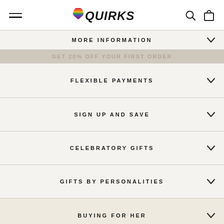QUIRKSY — navigation header with hamburger menu, logo, search and cart icons
MORE INFORMATION
FLEXIBLE PAYMENTS
SIGN UP AND SAVE
CELEBRATORY GIFTS
GIFTS BY PERSONALITIES
BUYING FOR HER
BUYING FOR HIM